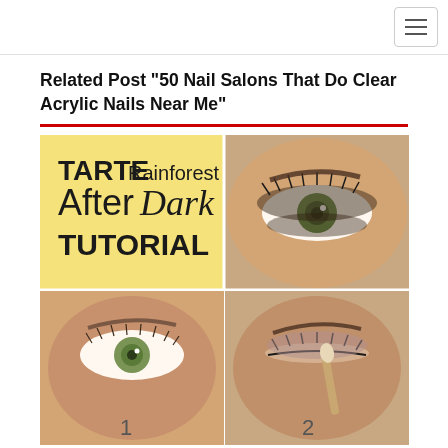Navigation bar with hamburger menu
Related Post "50 Nail Salons That Do Clear Acrylic Nails Near Me"
[Figure (photo): A 2x2 grid of makeup tutorial images. Top-left: Yellow background with text 'TARTE Rainforest After Dark TUTORIAL'. Top-right: Close-up of a woman's eye with smoky eye makeup and long lashes. Bottom-left: Close-up of a woman's green eye with minimal makeup, labeled '1'. Bottom-right: Close-up of a woman's eye with a makeup brush applying eyeshadow, labeled '2'.]